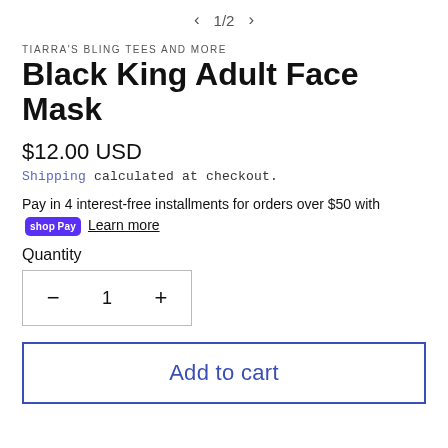< 1/2 >
TIARRA'S BLING TEES AND MORE
Black King Adult Face Mask
$12.00 USD
Shipping calculated at checkout.
Pay in 4 interest-free installments for orders over $50 with Shop Pay Learn more
Quantity
− 1 +
Add to cart